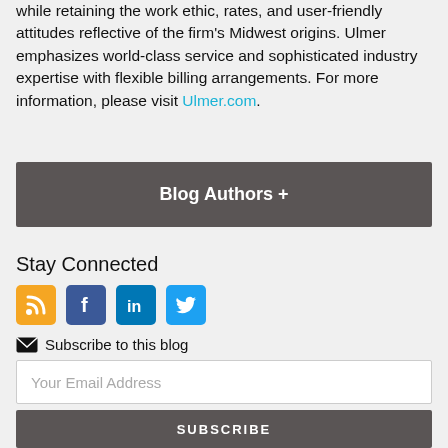while retaining the work ethic, rates, and user-friendly attitudes reflective of the firm's Midwest origins. Ulmer emphasizes world-class service and sophisticated industry expertise with flexible billing arrangements. For more information, please visit Ulmer.com.
Blog Authors +
Stay Connected
[Figure (infographic): Social media icons: RSS (orange), Facebook (blue), LinkedIn (blue), Twitter (blue)]
Subscribe to this blog
Your Email Address
SUBSCRIBE